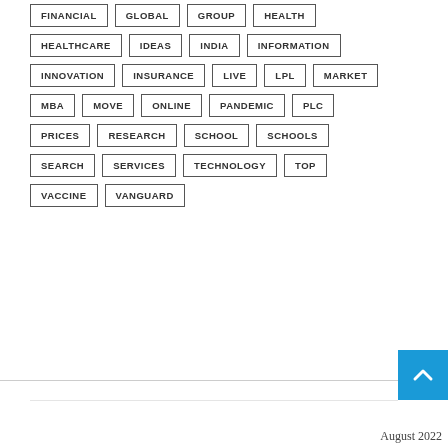FINANCIAL
GLOBAL
GROUP
HEALTH
HEALTHCARE
IDEAS
INDIA
INFORMATION
INNOVATION
INSURANCE
LIVE
LPL
MARKET
MBA
MOVE
ONLINE
PANDEMIC
PLC
PRICES
RESEARCH
SCHOOL
SCHOOLS
SEARCH
SERVICES
TECHNOLOGY
TOP
VACCINE
VANGUARD
August 2022